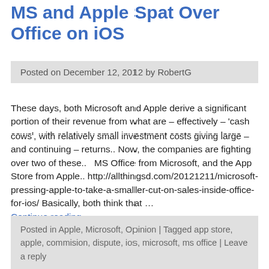MS and Apple Spat Over Office on iOS
Posted on December 12, 2012 by RobertG
These days, both Microsoft and Apple derive a significant portion of their revenue from what are – effectively – 'cash cows', with relatively small investment costs giving large – and continuing – returns.. Now, the companies are fighting over two of these..   MS Office from Microsoft, and the App Store from Apple.. http://allthingsd.com/20121211/microsoft-pressing-apple-to-take-a-smaller-cut-on-sales-inside-office-for-ios/ Basically, both think that …
Continue reading →
Posted in Apple, Microsoft, Opinion | Tagged app store, apple, commision, dispute, ios, microsoft, ms office | Leave a reply